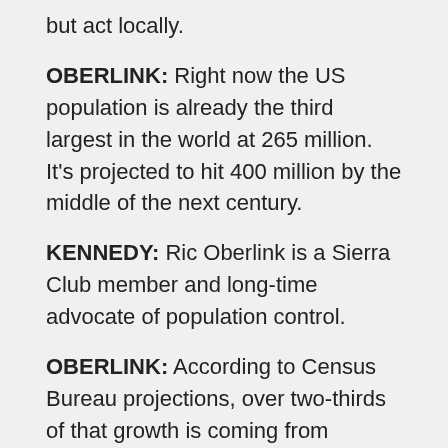but act locally.
OBERLINK: Right now the US population is already the third largest in the world at 265 million. It's projected to hit 400 million by the middle of the next century.
KENNEDY: Ric Oberlink is a Sierra Club member and long-time advocate of population control.
OBERLINK: According to Census Bureau projections, over two-thirds of that growth is coming from immigrants and their descendants.
KENNEDY: According to Federal statistics, during the 1990s more than 5 million legal immigrants have moved to the United States, the highest number since the immigration peak at the beginning of this century. And the birth rate among immigrants is higher than among native-born Americans. Oberlink and others point out that